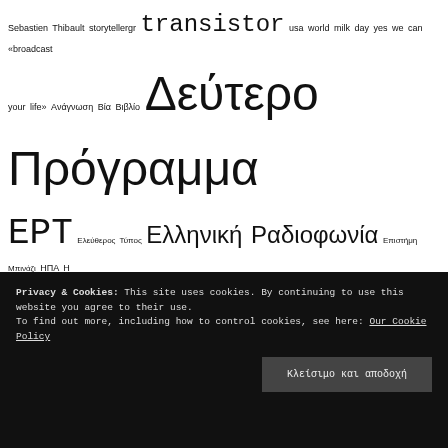[Figure (infographic): Tag cloud with Greek and English terms of varying sizes, including: Sebastien Thibault, storytellergr, transistor, usa, world milk day, yes we can, «broadcast your life», Ανάγνωση, Βία, Βιβλίο, Δεύτερο Πρόγραμμα, ΕΡΤ, Ελεύθερος Τύπος, Ελληνική Ραδιοφωνία, Επιστήμη, Μπινάζι, ΗΠΑ, Η δημοκρατία σε 30 μαθήματα, Θείος Σαμ, Λέξη της χρονιάς, Μαρία Κοζάκου, Μαρία Λυσάνδρου, Μαρια Κοζακου, ΝΕΡΙΤ, Νέα Μέσα, Πανδημία, Περιοδικό Plan Be, Ραδιοφωνική εκπομπή, Ραδιοφωνικός παραγωγός, Ραδιόφωνο, Συνέντευξη, Τζίνα Δαβιλά, Τρανζίστορ, ΧΕΝΕΔ, αρχείο ραδιοφωνικών εκπομπών, αφίσα, βία, σε ζωντανή μετάδοση, γάλα, δημαγωγία, δημοσιογραφία, διεμφυλικά άτομα, εκπομπή]
Privacy & Cookies: This site uses cookies. By continuing to use this website you agree to their use.
To find out more, including how to control cookies, see here: Our Cookie Policy
Κλείσιμο και αποδοχή